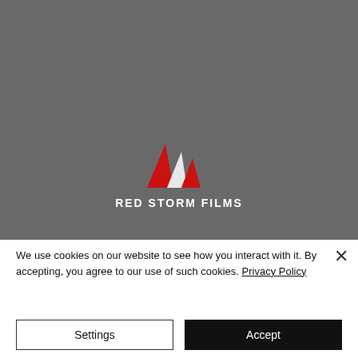[Figure (logo): Red Storm Films logo: three triangular sail/flag shapes in red and white on a gray background, with text RED STORM FILMS below in white bold capital letters]
We use cookies on our website to see how you interact with it. By accepting, you agree to our use of such cookies. Privacy Policy
Settings
Accept